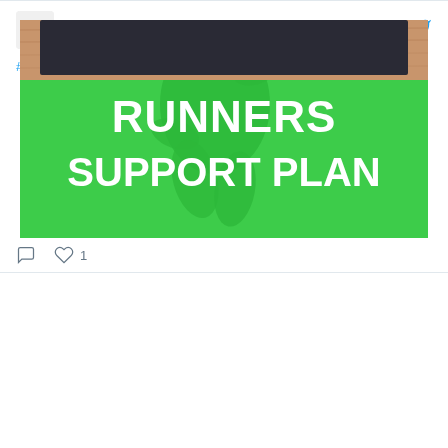pro-run activations and post-run recovery with #fiit fiit.tv/get-started/ru…
[Figure (photo): Green promotional banner image with a woman athlete stretching/lunging and bold white text reading 'RUNNERS SUPPORT PLAN']
comment icon, heart icon, 1 like
RunThrough.co.uk @RunThroughUK · Aug 29
#MondayMotivation
[Figure (photo): Partial image of a wooden framed chalkboard sign]